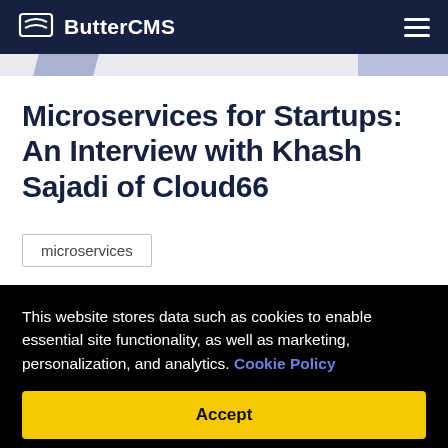ButterCMS
Microservices for Startups: An Interview with Khash Sajadi of Cloud66
microservices
This website stores data such as cookies to enable essential site functionality, as well as marketing, personalization, and analytics. Cookie Policy
Accept
Deny